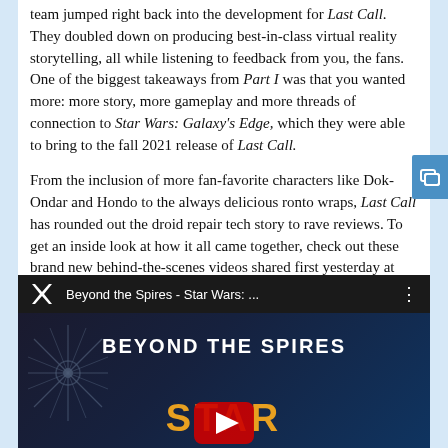team jumped right back into the development for Last Call. They doubled down on producing best-in-class virtual reality storytelling, all while listening to feedback from you, the fans. One of the biggest takeaways from Part I was that you wanted more: more story, more gameplay and more threads of connection to Star Wars: Galaxy's Edge, which they were able to bring to the fall 2021 release of Last Call.
From the inclusion of more fan-favorite characters like Dok-Ondar and Hondo to the always delicious ronto wraps, Last Call has rounded out the droid repair tech story to rave reviews. To get an inside look at how it all came together, check out these brand new behind-the-scenes videos shared first yesterday at Star Wars Celebration.
[Figure (screenshot): Video thumbnail for 'Beyond the Spires - Star Wars: ...' showing a dark background with a starburst/sunburst graphic on the left, the text 'BEYOND THE SPIRES' in white blocky letters, and 'STAR' in large orange letters at the bottom with a partial red play button visible.]